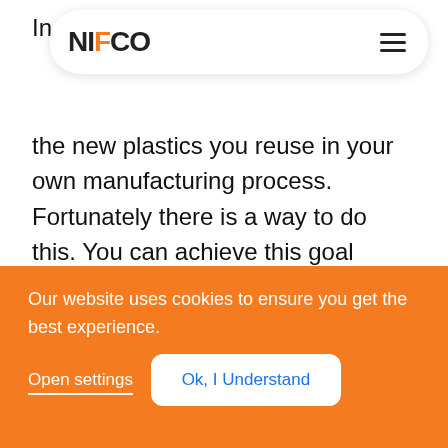NIFCO
In the new plastics you reuse in your own manufacturing process. Fortunately there is a way to do this. You can achieve this goal through direct B2B collaboration with other manufacturers of plastic products.
The B2B Plastics Reuse Supply Chain
Our website uses cookies to ensure you get the best experience.
Open settings  Ok, I Understand